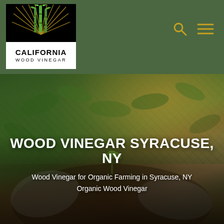[Figure (logo): California Wood Vinegar logo: black box with stylized bamboo/grass stalks radiating upward in gold and green, white banner below with 'CALIFORNIA' in bold black text and 'WOOD VINEGAR' in spaced letters]
[Figure (other): Navigation icons: gold magnifying glass (search) and gold hamburger menu (three horizontal lines) on dark green background]
[Figure (photo): Hero background photo of hands in gardening gloves holding dark soil with a small green seedling, surrounded by lush green plants with warm golden light in background]
WOOD VINEGAR SYRACUSE, NY
Wood Vinegar for Organic Farming in Syracuse, NY
Organic Wood Vinegar